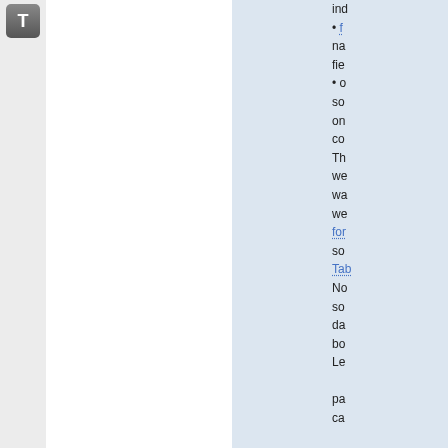[Figure (other): Letter T icon/button in dark grey rounded rectangle]
ind
• f na fie
• o so on co
Th we wa we for so Tab No so da bo Le pa ca